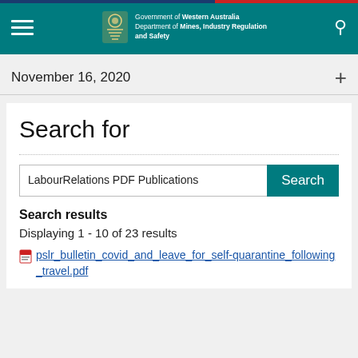Government of Western Australia Department of Mines, Industry Regulation and Safety
November 16, 2020
Search for
LabourRelations PDF Publications
Search results
Displaying 1 - 10 of 23 results
pslr_bulletin_covid_and_leave_for_self-quarantine_following_travel.pdf